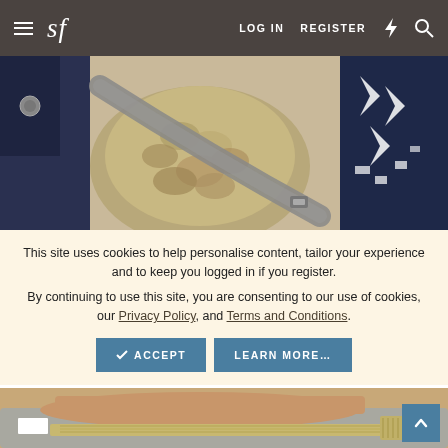sf  LOG IN  REGISTER
[Figure (photo): Close-up photo of cowboy boots and leather belt — exotic patterned leather (snakeskin/croc), dark blue embroidered boots with white geometric pattern, and a grey leather belt strap across them]
This site uses cookies to help personalise content, tailor your experience and to keep you logged in if you register.
By continuing to use this site, you are consenting to our use of cookies, our Privacy Policy, and Terms and Conditions.
[Figure (photo): Close-up photo of espadrille shoe sole — tan leather insole, woven rope/jute outsole edge, grey suede upper, on a wooden surface]